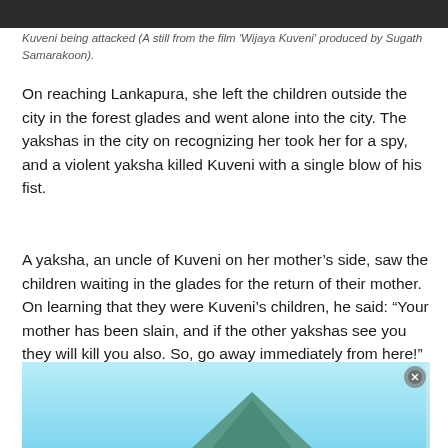[Figure (photo): Dark photo strip at top of page showing a film still]
Kuveni being attacked (A still from the film 'Wijaya Kuveni' produced by Sugath Samarakoon).
On reaching Lankapura, she left the children outside the city in the forest glades and went alone into the city. The yakshas in the city on recognizing her took her for a spy, and a violent yaksha killed Kuveni with a single blow of his fist.
A yaksha, an uncle of Kuveni on her mother’s side, saw the children waiting in the glades for the return of their mother. On learning that they were Kuveni’s children, he said: “Your mother has been slain, and if the other yakshas see you they will kill you also. So, go away immediately from here!”
[Figure (photo): Advertisement banner showing a mountain scene with aqua blue sky]
Advertisements